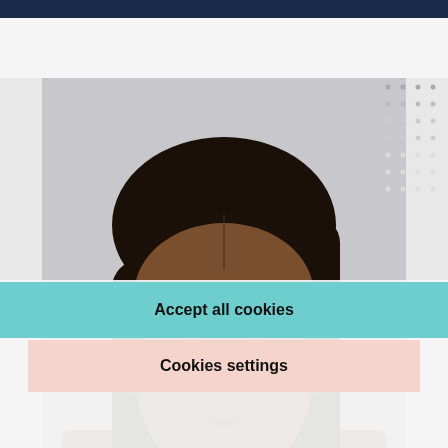[Figure (photo): Portrait photo of a young Black woman with long dark hair, looking straight at the camera against a light gray background. The photo is partially obscured by a cookie consent overlay in the lower half.]
×
Cookie Policy
We use cookies to give you a more personalized browsing experience and analyze site traffic. See our cookie policy
Accept all cookies
Cookies settings